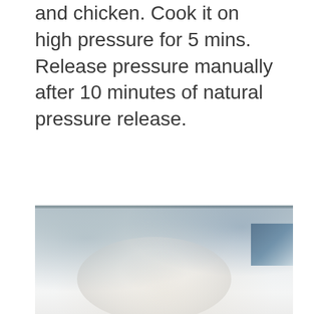and chicken. Cook it on high pressure for 5 mins. Release pressure manually after 10 minutes of natural pressure release.
[Figure (photo): A photo showing a white plate and what appears to be cooking/kitchen items on a light surface, with a blue/gray background element visible in the upper right corner.]